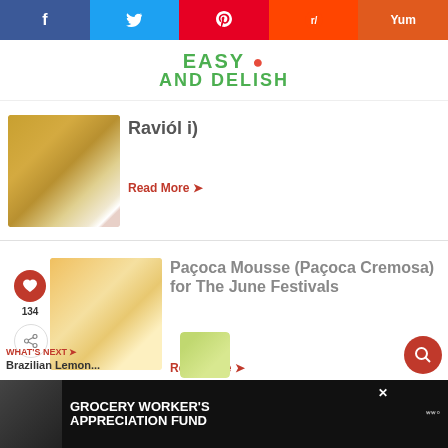[Figure (screenshot): Social sharing bar with Facebook, Twitter, Pinterest, Reddit, Yummly buttons]
[Figure (logo): Easy and Delish logo in green]
[Figure (photo): Bowl of ravioli dish]
Raviól i)
Read More →
[Figure (photo): Paçoca Mousse dessert cups]
Paçoca Mousse (Paçoca Cremosa) for The June Festivals
Read More →
134
WHAT'S NEXT → Brazilian Lemon...
[Figure (photo): Thumbnail of Brazilian Lemon recipe]
[Figure (screenshot): Advertisement banner: Grocery Worker's Appreciation Fund with Kendall-Jackson and United Way logos]